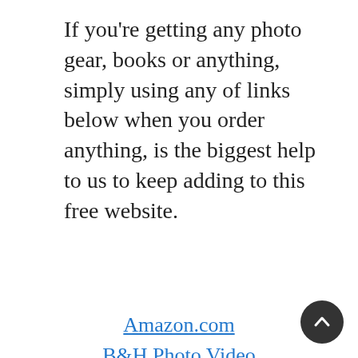If you're getting any photo gear, books or anything, simply using any of links below when you order anything, is the biggest help to us to keep adding to this free website.
Amazon.com
B&H Photo Video
Adorama.com
Best Buy
ebay.com
Amazon.co.uk
WEX UK
ebay.co.uk
WEX DE